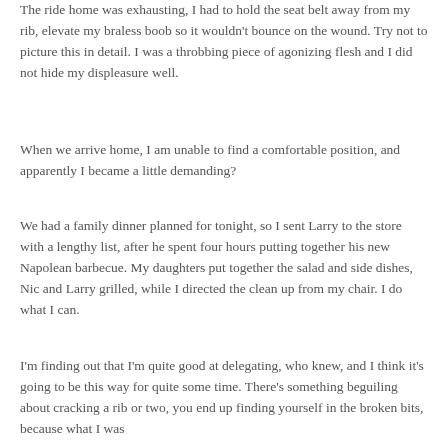The ride home was exhausting, I had to hold the seat belt away from my rib, elevate my braless boob so it wouldn't bounce on the wound. Try not to picture this in detail. I was a throbbing piece of agonizing flesh and I did not hide my displeasure well.
When we arrive home, I am unable to find a comfortable position, and apparently I became a little demanding?
We had a family dinner planned for tonight, so I sent Larry to the store with a lengthy list, after he spent four hours putting together his new Napolean barbecue. My daughters put together the salad and side dishes, Nic and Larry grilled, while I directed the clean up from my chair. I do what I can.
I'm finding out that I'm quite good at delegating, who knew, and I think it's going to be this way for quite some time. There's something beguiling about cracking a rib or two, you end up finding yourself in the broken bits, because what I was